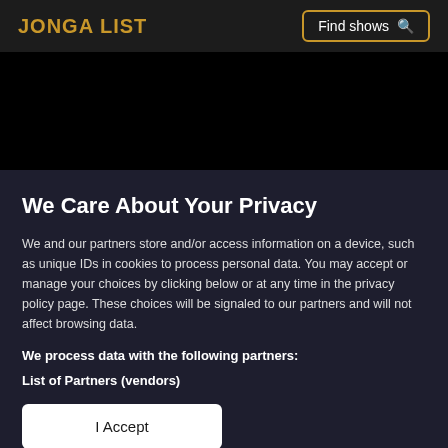JONGA LIST   Find shows
[Figure (screenshot): Black banner/hero image area]
We Care About Your Privacy
We and our partners store and/or access information on a device, such as unique IDs in cookies to process personal data. You may accept or manage your choices by clicking below or at any time in the privacy policy page. These choices will be signaled to our partners and will not affect browsing data.
We process data with the following partners:
List of Partners (vendors)
I Accept